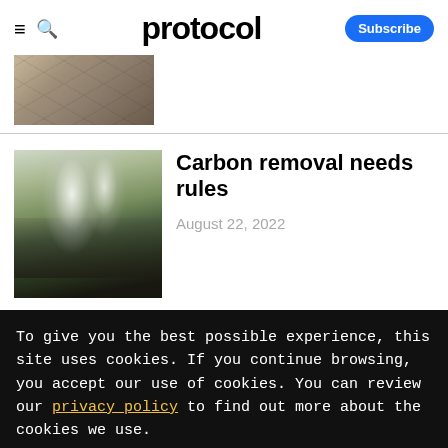protocol — Subscribe
[Figure (photo): Cracked dry earth/drought aerial photo top strip]
Carbon removal needs rules
August 22, 2022
[Figure (photo): Aerial view of industrial facility with large white smoke plumes rising, green hillside in background]
To give you the best possible experience, this site uses cookies. If you continue browsing, you accept our use of cookies. You can review our privacy policy to find out more about the cookies we use.
Accept